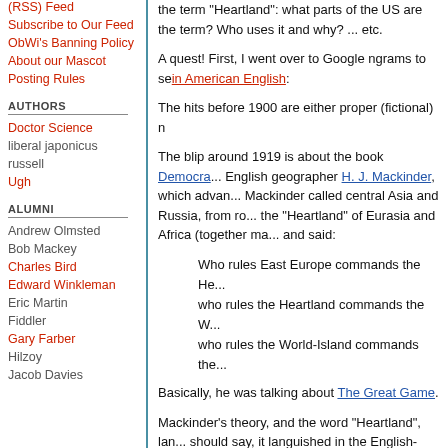(RSS) Feed
Subscribe to Our Feed
ObWi's Banning Policy
About our Mascot
Posting Rules
AUTHORS
Doctor Science
liberal japonicus
russell
Ugh
ALUMNI
Andrew Olmsted
Bob Mackey
Charles Bird
Edward Winkleman
Eric Martin
Fiddler
Gary Farber
Hilzoy
Jacob Davies
the term "Heartland": what parts of the US are the term? Who uses it and why? ... etc.
A quest! First, I went over to Google ngrams to see in American English:
The hits before 1900 are either proper (fictional) n
The blip around 1919 is about the book Democra... English geographer H. J. Mackinder, which advan... Mackinder called central Asia and Russia, from ro... the "Heartland" of Eurasia and Africa (together ma... and said:
Who rules East Europe commands the He... who rules the Heartland commands the W... who rules the World-Island commands the...
Basically, he was talking about The Great Game.
Mackinder's theory, and the word "Heartland", lan... should say, it languished in the English-speaking influenced the German geographer (and ex-Gene... student Rudolf Hess. Through Hess, Mackinder's crucial element in Mein Kampf and later Nazi geo...